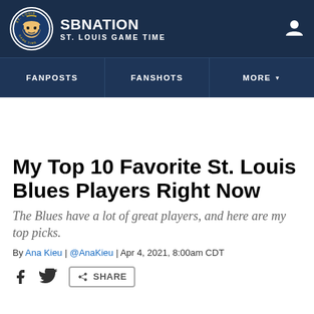SBNation ST. LOUIS GAME TIME
FANPOSTS | FANSHOTS | MORE
My Top 10 Favorite St. Louis Blues Players Right Now
The Blues have a lot of great players, and here are my top picks.
By Ana Kieu | @AnaKieu | Apr 4, 2021, 8:00am CDT